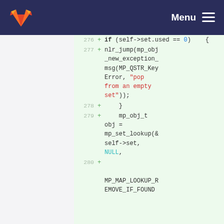GitLab navigation bar with Menu
[Figure (screenshot): GitLab code diff view showing lines 276-280 of a C source file with added lines (marked with +) on a green background. Line 276: if (self->set.used == 0) {, Line 277: nlr_jump(mp_obj_new_exception_msg(MP_QSTR_KeyError, "pop from an empty set")); Line 278: } Line 279: mp_obj_t obj = mp_set_lookup(&self->set, NULL, Line 280: MP_MAP_LOOKUP_REMOVE_IF_FOUND]